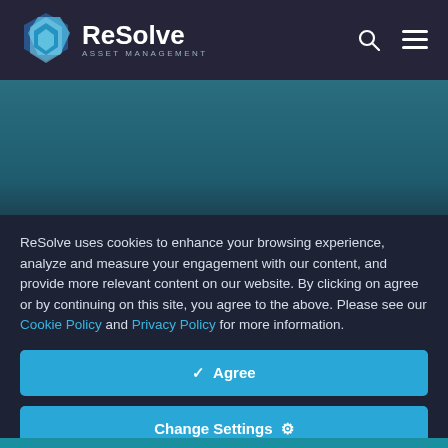[Figure (logo): ReSolve Asset Management logo with hexagonal icon in light blue/teal and white text]
ReSolve uses cookies to enhance your browsing experience, analyze and measure your engagement with our content, and provide more relevant content on our website. By clicking on agree or by continuing on this site, you agree to the above. Please see our Cookie Policy and Privacy Policy for more information.
✓  Agree
Change Settings  ⚙